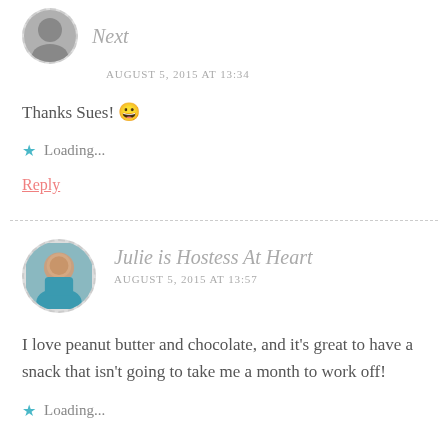Next — AUGUST 5, 2015 AT 13:34
Thanks Sues! 😀
Loading...
Reply
Julie is Hostess At Heart — AUGUST 5, 2015 AT 13:57
I love peanut butter and chocolate, and it's great to have a snack that isn't going to take me a month to work off!
Loading...